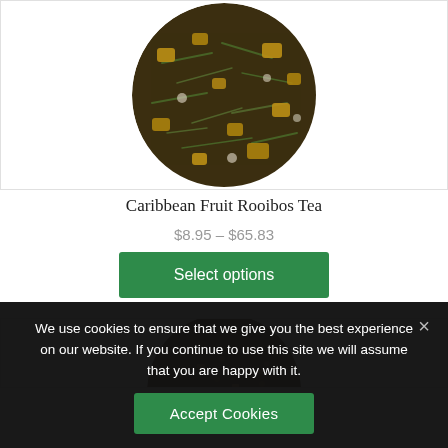[Figure (photo): Circular top-down view of Caribbean Fruit Rooibos Tea loose leaf blend with green tea and yellow fruit pieces on white background]
Caribbean Fruit Rooibos Tea
$8.95 – $65.83
Select options
[Figure (photo): Circular top-down view of a second tea product (partially visible at bottom of page)]
We use cookies to ensure that we give you the best experience on our website. If you continue to use this site we will assume that you are happy with it.
Accept Cookies